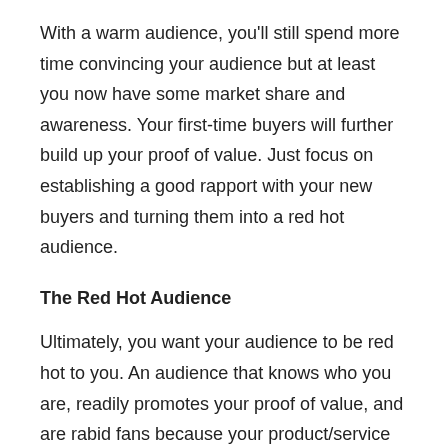With a warm audience, you'll still spend more time convincing your audience but at least you now have some market share and awareness. Your first-time buyers will further build up your proof of value. Just focus on establishing a good rapport with your new buyers and turning them into a red hot audience.
The Red Hot Audience
Ultimately, you want your audience to be red hot to you. An audience that knows who you are, readily promotes your proof of value, and are rabid fans because your product/service delivers every time.
In fact, they eagerly await your next product/service so they can throw money at you.